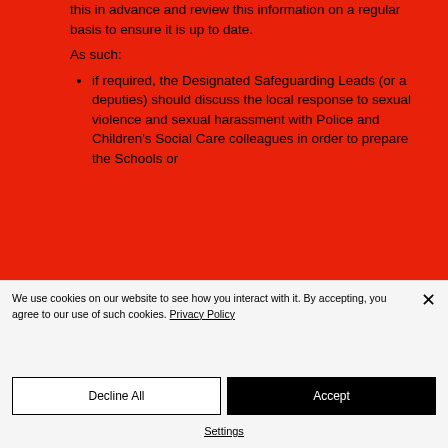this in advance and review this information on a regular basis to ensure it is up to date.
As such:
if required, the Designated Safeguarding Leads (or a deputies) should discuss the local response to sexual violence and sexual harassment with Police and Children's Social Care colleagues in order to prepare the Schools or
We use cookies on our website to see how you interact with it. By accepting, you agree to our use of such cookies. Privacy Policy
Decline All
Accept
Settings